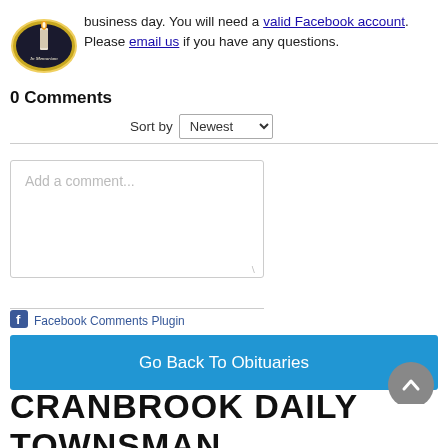[Figure (logo): In Memoriam candle logo with gold badge]
business day. You will need a valid Facebook account. Please email us if you have any questions.
0 Comments
Sort by Newest
Add a comment...
Facebook Comments Plugin
Go Back To Obituaries
CRANBROOK DAILY TOWNSMAN